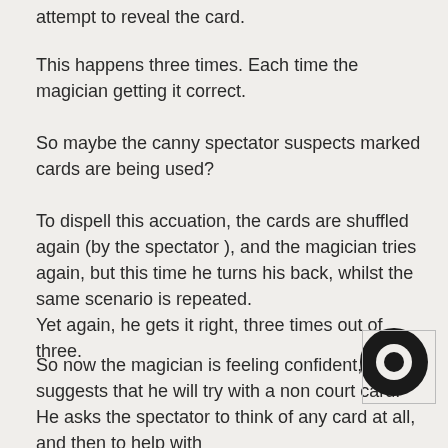attempt to reveal the card.
This happens three times. Each time the magician getting it correct.
So maybe the canny spectator suspects marked cards are being used?
To dispell this accuation, the cards are shuffled again (by the spectator ), and the magician tries again, but this time he turns his back, whilst the same scenario is repeated.
Yet again, he gets it right, three times out of three.
So now the magician is feeling confident, and suggests that he will try with a non court card. He asks the spectator to think of any card at all, and then to help with the visualising, find the card and stare at it intently for a seconds. The card is then lost in the deck.
[Figure (logo): Black circular logo/icon]